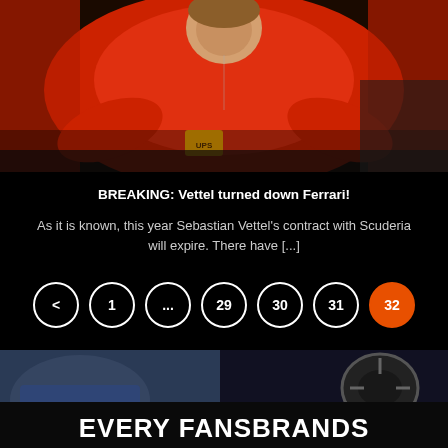[Figure (photo): A Formula 1 driver in a red Ferrari racing suit sitting in the pit area, looking downward with arms crossed, photographed from above]
BREAKING: Vettel turned down Ferrari!
As it is known, this year Sebastian Vettel's contract with Scuderia will expire. There have [...]
< 1 ... 29 30 31 32
[Figure (photo): Advertisement banner for EVERY FANSBRANDS with a dark motorsport background showing steering wheel and racing elements]